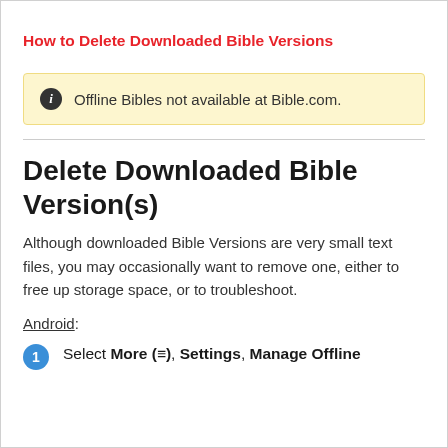How to Delete Downloaded Bible Versions
Offline Bibles not available at Bible.com.
Delete Downloaded Bible Version(s)
Although downloaded Bible Versions are very small text files, you may occasionally want to remove one, either to free up storage space, or to troubleshoot.
Android:
Select More (≡), Settings, Manage Offline